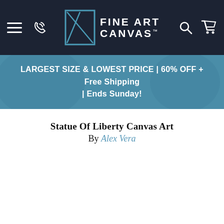Fine Art Canvas — navigation bar with menu, phone, logo, search, cart
LARGEST SIZE & LOWEST PRICE | 60% OFF + Free Shipping | Ends Sunday!
Statue Of Liberty Canvas Art
By Alex Vera